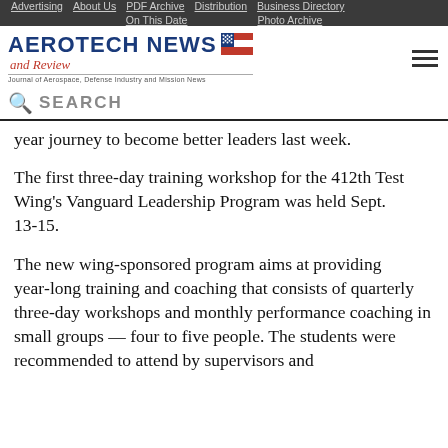Advertising | About Us | PDF Archive | Distribution | Business Directory | On This Date | Photo Archive
[Figure (logo): Aerotech News and Review logo with US flag icon and tagline 'Journal of Aerospace, Defense Industry and Mission News']
SEARCH
year journey to become better leaders last week.
The first three-day training workshop for the 412th Test Wing's Vanguard Leadership Program was held Sept. 13-15.
The new wing-sponsored program aims at providing year-long training and coaching that consists of quarterly three-day workshops and monthly performance coaching in small groups — four to five people. The students were recommended to attend by supervisors and